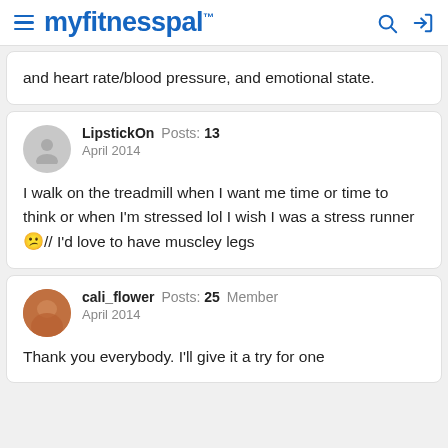myfitnesspal
and heart rate/blood pressure, and emotional state.
LipstickOn  Posts: 13
April 2014

I walk on the treadmill when I want me time or time to think or when I'm stressed lol I wish I was a stress runner 😕// I'd love to have muscley legs
cali_flower  Posts: 25  Member
April 2014

Thank you everybody. I'll give it a try for one